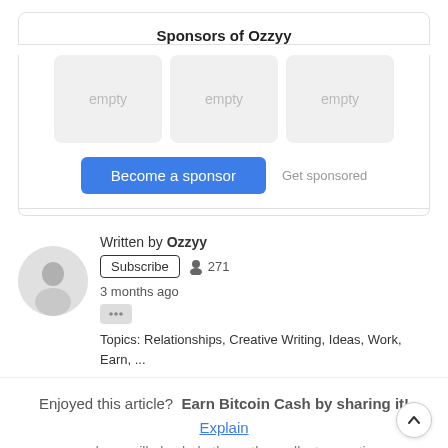Sponsors of Ozzyy
[Figure (other): Three empty sponsor placeholder boxes side by side]
Become a sponsor   Get sponsored
Written by Ozzyy
Subscribe   271
3 months ago
Topics: Relationships, Creative Writing, Ideas, Work, Earn, ...
Enjoyed this article?  Earn Bitcoin Cash by sharing it!  Explain
...and you will also help the author collect more tips.